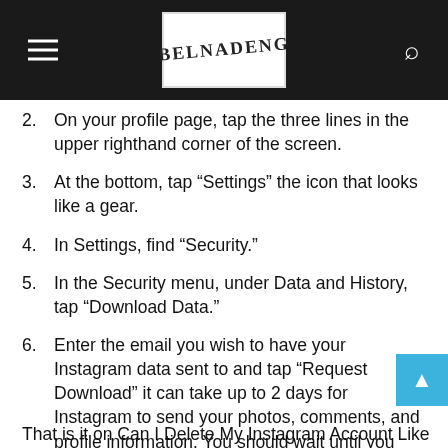BELNADENG
2. On your profile page, tap the three lines in the upper righthand corner of the screen.
3. At the bottom, tap “Settings” the icon that looks like a gear.
4. In Settings, find “Security.”
5. In the Security menu, under Data and History, tap “Download Data.”
6. Enter the email you wish to have your Instagram data sent to and tap “Request Download” it can take up to 2 days for Instagram to send your photos, comments, and profile information. You should wait until you receive the data before deleting your account.
That is it on Can I Delete My Instagram Account Like